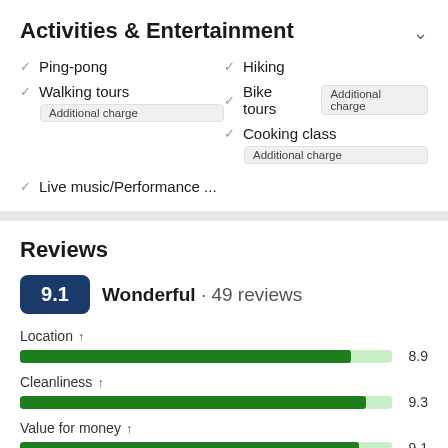Activities & Entertainment
Ping-pong
Hiking
Walking tours – Additional charge
Bike tours – Additional charge
Cooking class – Additional charge
Live music/Performance ...
Reviews
9.1 Wonderful · 49 reviews
Location ↑ 8.9
Cleanliness ↑ 9.3
Value for money ↑ 9.1